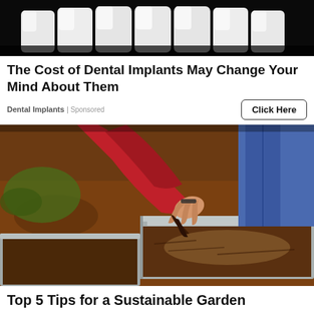[Figure (photo): Close-up photo of white dental implants/teeth on a dark black background, cropped at top of page]
The Cost of Dental Implants May Change Your Mind About Them
Dental Implants | Sponsored
Click Here
[Figure (photo): Person in a red jacket and jeans working with soil in a galvanized metal garden planter box, handling dark mulch/compost]
Top 5 Tips for a Sustainable Garden